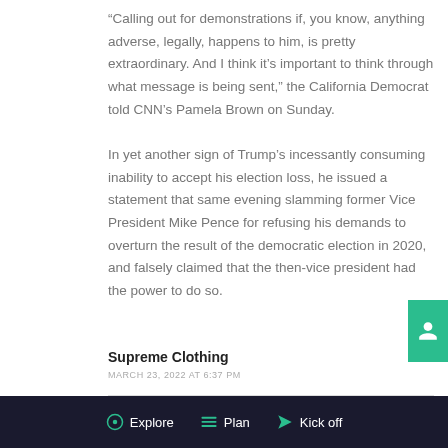“Calling out for demonstrations if, you know, anything adverse, legally, happens to him, is pretty extraordinary. And I think it’s important to think through what message is being sent,” the California Democrat told CNN’s Pamela Brown on Sunday.
In yet another sign of Trump’s incessantly consuming inability to accept his election loss, he issued a statement that same evening slamming former Vice President Mike Pence for refusing his demands to overturn the result of the democratic election in 2020, and falsely claimed that the then-vice president had the power to do so.
[Figure (other): Default user avatar (gray circle with person silhouette)]
Supreme Clothing
MARCH 23, 2022 AT 6:37 PM
Explore   Plan   Kick off